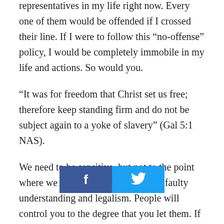representatives in my life right now. Every one of them would be offended if I crossed their line. If I were to follow this “no-offense” policy, I would be completely immobile in my life and actions. So would you.
“It was for freedom that Christ set us free; therefore keep standing firm and do not be subject again to a yoke of slavery” (Gal 5:1 NAS).
We need to be sensitive, but not to the point where we are simply fueling others’ faulty understanding and legalism. People will control you to the degree that you let them. If you allow this to go on without discernment, not on… be immobile, but you will have lost your liberty. Lose liberty, lose the
[Figure (infographic): Social media share buttons: Facebook (blue, f icon) and Twitter (light blue, bird icon)]